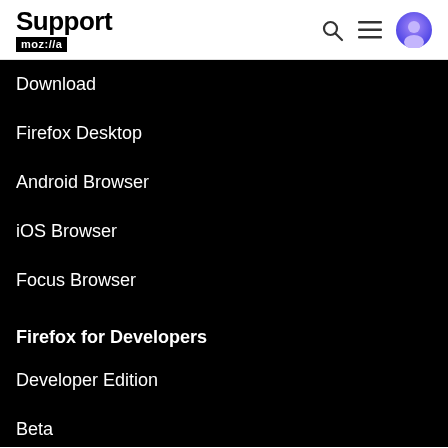Support moz://a
Download
Firefox Desktop
Android Browser
iOS Browser
Focus Browser
Firefox for Developers
Developer Edition
Beta
Beta for Android
Nightly